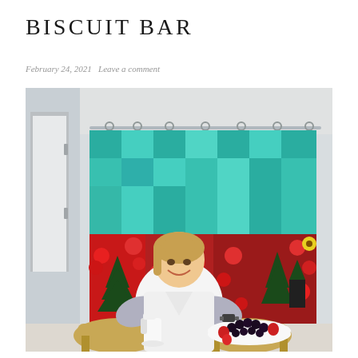BISCUIT BAR
February 24, 2021   Leave a comment
[Figure (photo): A smiling woman in a white sweater and patterned sleeves sits between two wicker chairs, holding a white pitcher in one hand and a white plate piled with berries (blackberries, strawberries) in the other. Behind her hangs a colorful quilt featuring red poppies, green trees, lighthouses, and a teal border, suspended from a curtain rod with metal rings, in what appears to be a bright room with white walls.]